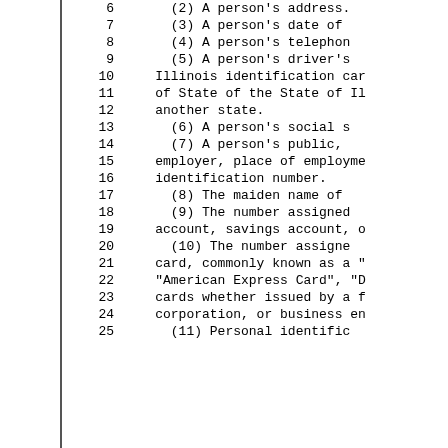6    (2) A person's address.
7    (3) A person's date of
8    (4) A person's telephon
9    (5) A person's driver's
10   Illinois identification car
11   of State of the State of Il
12   another state.
13   (6) A person's social s
14   (7) A person's public,
15   employer, place of employme
16   identification number.
17   (8) The maiden name of
18   (9) The number assigned
19   account, savings account, o
20   (10) The number assigne
21   card, commonly known as a "
22   "American Express Card", "D
23   cards whether issued by a f
24   corporation, or business en
25   (11) Personal identific